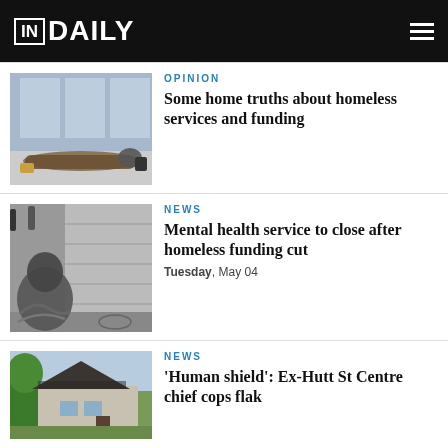IN DAILY
[Figure (photo): Person sleeping rough on a city footpath covered with blankets and bags near a glass-fronted building]
OPINION
Some home truths about homeless services and funding
[Figure (photo): Black and white photo of a homeless person huddled against a stone wall with a bowl in front]
NEWS
Mental health service to close after homeless funding cut
Tuesday, May 04
[Figure (photo): Modern building with dark roof tiles surrounded by trees]
NEWS
'Human shield': Ex-Hutt St Centre chief cops flak